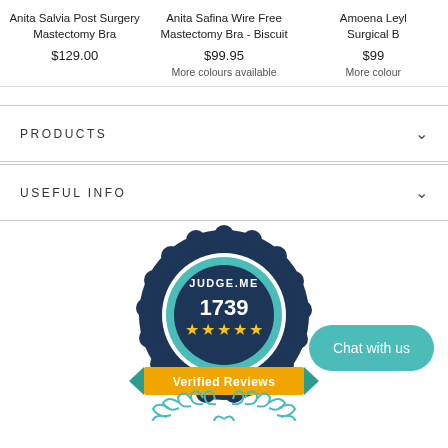Anita Salvia Post Surgery Mastectomy Bra
$129.00
Anita Safina Wire Free Mastectomy Bra - Biscuit
$99.95
More colours available
Amoena Leyl Surgical B
$99
More colour
PRODUCTS
USEFUL INFO
[Figure (logo): Judge.me verified reviews badge showing 1739 reviews with 5 stars]
Chat with us